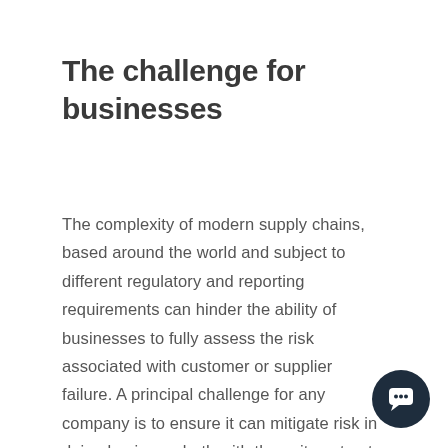The challenge for businesses
The complexity of modern supply chains, based around the world and subject to different regulatory and reporting requirements can hinder the ability of businesses to fully assess the risk associated with customer or supplier failure. A principal challenge for any company is to ensure it can mitigate risk in doing business: both with those it contracts with directly and throughout the broader supply chain. A survey by the Business Continuity Institute found almost 40% of reported supply chain disruptions
[Figure (other): Dark circular chat button icon in bottom-right corner]